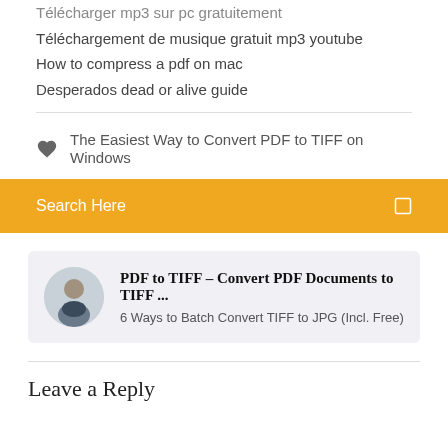Télécharger mp3 sur pc gratuitement
Téléchargement de musique gratuit mp3 youtube
How to compress a pdf on mac
Desperados dead or alive guide
The Easiest Way to Convert PDF to TIFF on Windows
Search Here
PDF to TIFF – Convert PDF Documents to TIFF ...
6 Ways to Batch Convert TIFF to JPG (Incl. Free)
Leave a Reply